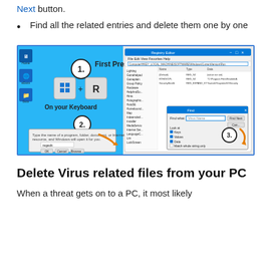Next button.
Find all the related entries and delete them one by one
[Figure (screenshot): Screenshot showing three steps: 1. First Press Windows+R on your Keyboard, 2. Run dialog with 'regedit', 3. Registry Editor with Find dialog searching for Virus Name]
Delete Virus related files from your PC
When a threat gets on to a PC, it most likely